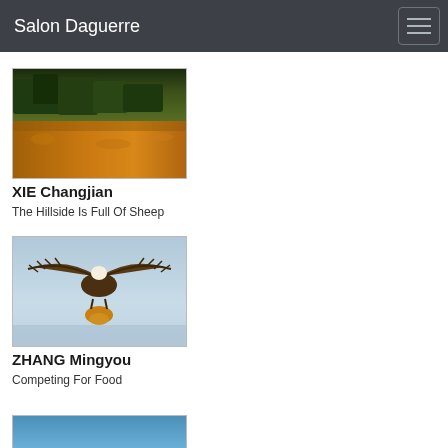Salon Daguerre
[Figure (photo): Landscape photo of a hillside with warm golden-orange fields, green trees, and sheep in golden light]
XIE Changjian
The Hillside Is Full Of Sheep
[Figure (photo): Bird of prey (eagle) with wings spread wide, diving down to catch prey against a light blue background]
ZHANG Mingyou
Competing For Food
[Figure (photo): Partially visible blue-toned photo at bottom of page]